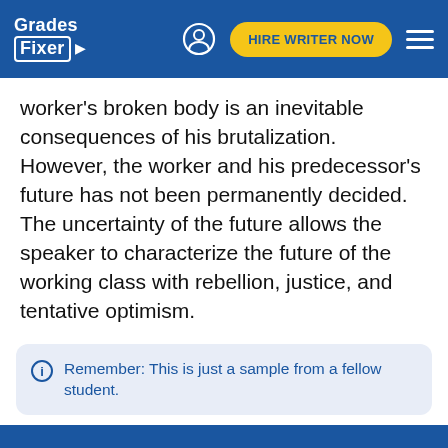Grades Fixer — HIRE WRITER NOW
worker's broken body is an inevitable consequences of his brutalization. However, the worker and his predecessor's future has not been permanently decided. The uncertainty of the future allows the speaker to characterize the future of the working class with rebellion, justice, and tentative optimism.
Remember: This is just a sample from a fellow student.
Your time is important. Let us write you an essay from scratch
450+ experts on 30 subjects ready to help you just now